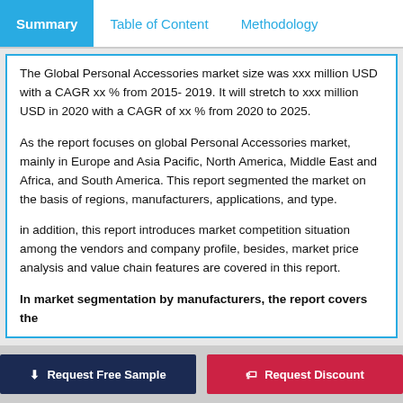Summary  Table of Content  Methodology
The Global Personal Accessories market size was xxx million USD with a CAGR xx % from 2015- 2019. It will stretch to xxx million USD in 2020 with a CAGR of xx % from 2020 to 2025.
As the report focuses on global Personal Accessories market, mainly in Europe and Asia Pacific, North America, Middle East and Africa, and South America. This report segmented the market on the basis of regions, manufacturers, applications, and type.
in addition, this report introduces market competition situation among the vendors and company profile, besides, market price analysis and value chain features are covered in this report.
In market segmentation by manufacturers, the report covers the
Request Free Sample   Request Discount